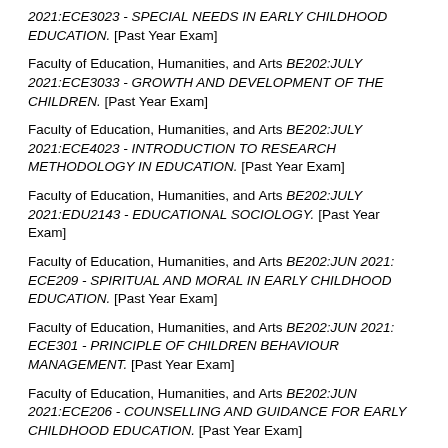2021:ECE3023 - SPECIAL NEEDS IN EARLY CHILDHOOD EDUCATION. [Past Year Exam]
Faculty of Education, Humanities, and Arts BE202:JULY 2021:ECE3033 - GROWTH AND DEVELOPMENT OF THE CHILDREN. [Past Year Exam]
Faculty of Education, Humanities, and Arts BE202:JULY 2021:ECE4023 - INTRODUCTION TO RESEARCH METHODOLOGY IN EDUCATION. [Past Year Exam]
Faculty of Education, Humanities, and Arts BE202:JULY 2021:EDU2143 - EDUCATIONAL SOCIOLOGY. [Past Year Exam]
Faculty of Education, Humanities, and Arts BE202:JUN 2021: ECE209 - SPIRITUAL AND MORAL IN EARLY CHILDHOOD EDUCATION. [Past Year Exam]
Faculty of Education, Humanities, and Arts BE202:JUN 2021: ECE301 - PRINCIPLE OF CHILDREN BEHAVIOUR MANAGEMENT. [Past Year Exam]
Faculty of Education, Humanities, and Arts BE202:JUN 2021:ECE206 - COUNSELLING AND GUIDANCE FOR EARLY CHILDHOOD EDUCATION. [Past Year Exam]